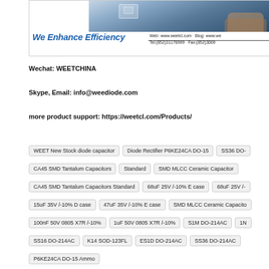[Figure (photo): Header banner with photo of person using digital device, company logo 'We Enhance Efficiency', website, blog, phone and fax contact information]
Wechat: WEETCHINA
Skype, Email: info@weediode.com
more product support: https://weetcl.com/Products/
WEET New Stock diode capacitor
Diode Rectifier P6KE24CA DO-15
SS36 DO-
CA45 SMD Tantalum Capacitors
Standard
SMD MLCC Ceramic Capacitor
CA45 SMD Tantalum Capacitors Standard
68uF 25V /-10% E case
68uF 25V /-
15uF 35V /-10% D case
47uF 35V /-10% E case
SMD MLCC Ceramic Capacito
100nF 50V 0805 X7R /-10%
1uF 50V 0805 X7R /-10%
S1M DO-214AC
1N
SS16 DO-214AC
K14 SOD-123FL
ES1D DO-214AC
SS36 DO-214AC
P6KE24CA DO-15 Ammo